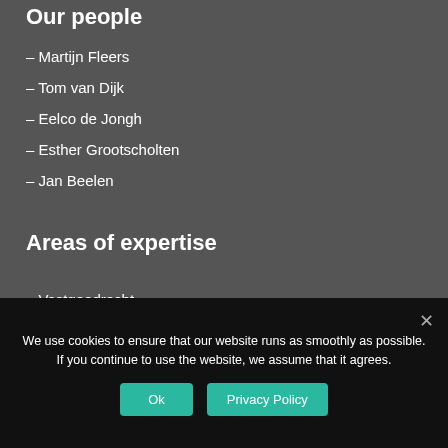Our people
– Martijn Fleers
– Tom van Dijk
– Eelco de Jongh
– Esther Grootscholten
– Jan Beelen
Areas of expertise
– Vastgoedrecht
We use cookies to ensure that our website runs as smoothly as possible. If you continue to use the website, we assume that it agrees.